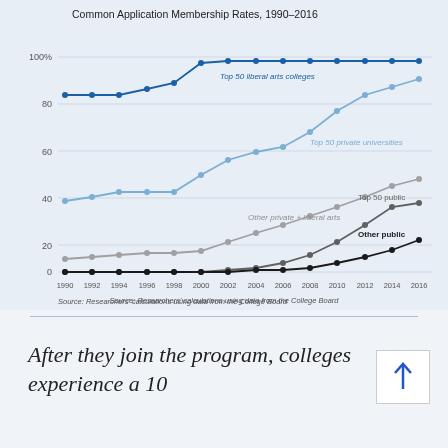[Figure (line-chart): Common Application Membership Rates, 1990–2016]
Source: Researchers' calculations using data from the College Board
After they join the program, colleges experience a 10